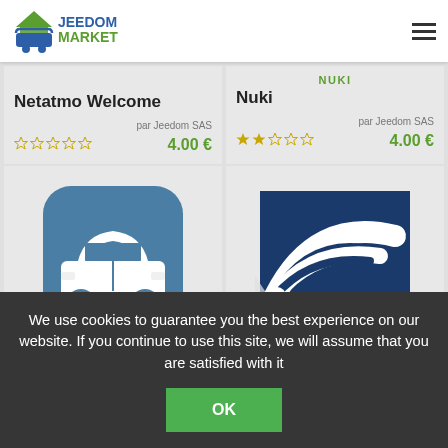[Figure (logo): Jeedom Market logo with house icon and shopping cart, text JEEDOM MARKET in green and gray]
NUKI
Netatmo Welcome
par Jeedom SAS
4.00 €
Nuki
par Jeedom SAS
4.00 €
[Figure (illustration): Teal rounded square icon with white car silhouette]
[Figure (illustration): Dark navy blue square icon with white wifi/signal waves symbol]
We use cookies to guarantee you the best experience on our website. If you continue to use this site, we will assume that you are satisfied with it
OK